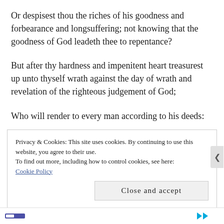Or despisest thou the riches of his goodness and forbearance and longsuffering; not knowing that the goodness of God leadeth thee to repentance?
But after thy hardness and impenitent heart treasurest up unto thyself wrath against the day of wrath and revelation of the righteous judgement of God;
Who will render to every man according to his deeds:
Privacy & Cookies: This site uses cookies. By continuing to use this website, you agree to their use.
To find out more, including how to control cookies, see here:
Cookie Policy
Close and accept